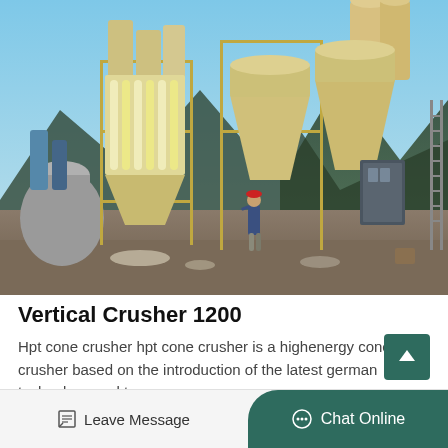[Figure (photo): Industrial vertical crusher machine with large conical hoppers and cylindrical towers on an outdoor job site. A worker in a red hard hat and blue jacket is visible walking near the machinery. Mountains visible in background under blue sky.]
Vertical Crusher 1200
Hpt cone crusher hpt cone crusher is a highenergy cone crusher based on the introduction of the latest german technology and t…